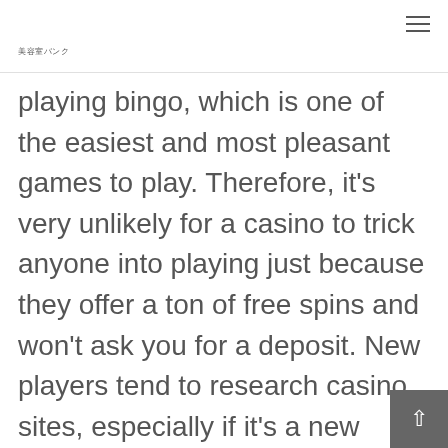美容室バンク
playing bingo, which is one of the easiest and most pleasant games to play. Therefore, it's very unlikely for a casino to trick anyone into playing just because they offer a ton of free spins and won't ask you for a deposit. New players tend to research casino sites, especially if it's a new casino.
Some have a set schedule for regular bonuses; while others send you customized offers. Mostly this requires you to make your first deposit, and you